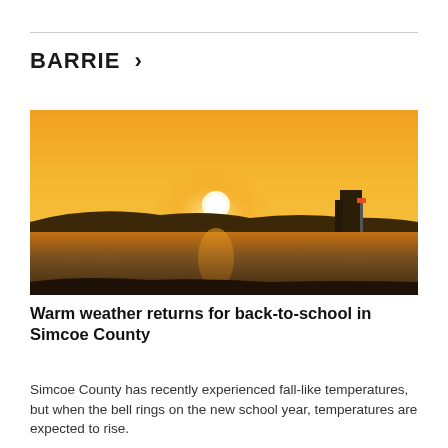BARRIE >
[Figure (photo): Sunset over a lake with orange sky, silhouetted hills and a building on the right, water in the foreground reflecting the light, with a navigation marker pole visible.]
Warm weather returns for back-to-school in Simcoe County
Simcoe County has recently experienced fall-like temperatures, but when the bell rings on the new school year, temperatures are expected to rise.